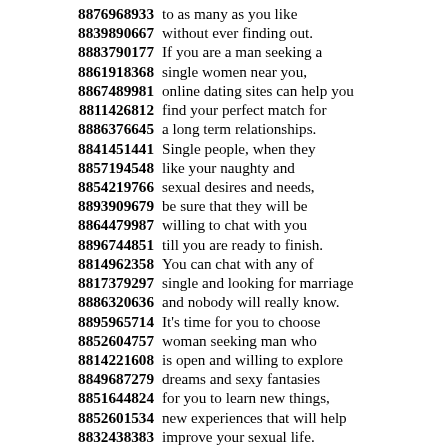8876968933 to as many as you like
8839890667 without ever finding out.
8883790177 If you are a man seeking a
8861918368 single women near you,
8867489981 online dating sites can help you
8811426812 find your perfect match for
8886376645 a long term relationships.
8841451441 Single people, when they
8857194548 like your naughty and
8854219766 sexual desires and needs,
8893909679 be sure that they will be
8864479987 willing to chat with you
8896744851 till you are ready to finish.
8814962358 You can chat with any of
8817379297 single and looking for marriage
8886320636 and nobody will really know.
8895965714 It's time for you to choose
8852604757 woman seeking man who
8814221608 is open and willing to explore
8849687279 dreams and sexy fantasies
8851644824 for you to learn new things,
8852601534 new experiences that will help
8832438383 improve your sexual life.
8835188271
8865214335 We're committed to helping